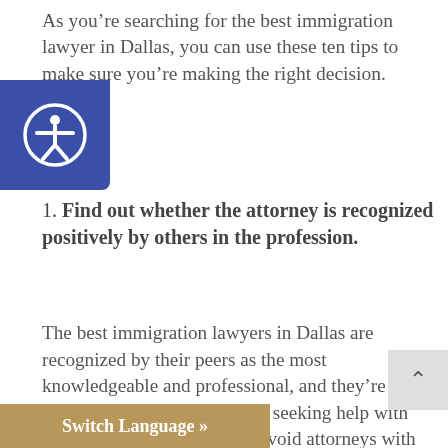As you’re searching for the best immigration lawyer in Dallas, you can use these ten tips to make sure you’re making the right decision.
1. Find out whether the attorney is recognized positively by others in the profession.
The best immigration lawyers in Dallas are recognized by their peers as the most knowledgeable and professional, and they’re a credit to their industry. Those seeking help with immigration matters should avoid attorneys with little or no positive reputation. You may also want to avoid lawyers who have limited experience but still claim to be the best immigration lawyer in Dallas. Also, please note that “notarios” are not certified